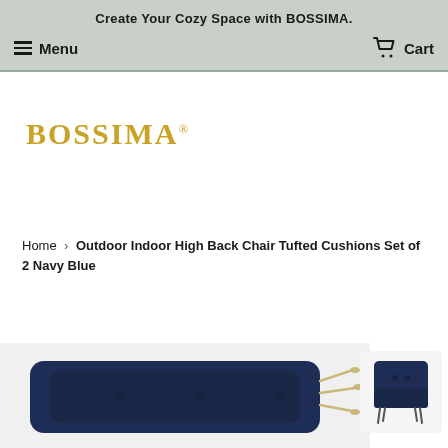Create Your Cozy Space with BOSSIMA.
Menu
Cart
[Figure (logo): BOSSIMA logo in gold serif text with registered trademark symbol]
Home › Outdoor Indoor High Back Chair Tufted Cushions Set of 2 Navy Blue
[Figure (photo): Navy blue high back chair tufted cushion product photo, main large image showing cushion folded/rolled, and small thumbnail showing the cushion on a chair from behind]